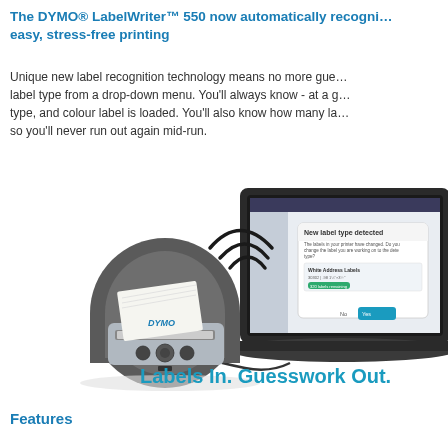The DYMO® LabelWriter™ 550 now automatically recognises labels for easy, stress-free printing
Unique new label recognition technology means no more guessing the label type from a drop-down menu. You'll always know - at a glance - what type, and colour label is loaded. You'll also know how many labels remain, so you'll never run out again mid-run.
[Figure (photo): DYMO LabelWriter 550 label printer connected by cable to a laptop displaying a 'New label type detected' dialog in the DYMO software. WiFi-style signal arcs shown above the printer indicating label recognition technology.]
Labels In. Guesswork Out.
Features